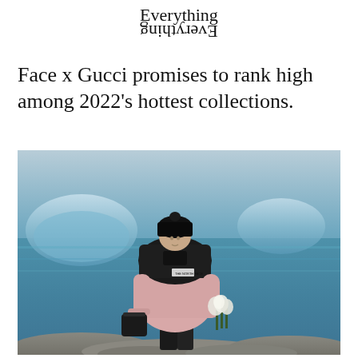Everything Everything
Face x Gucci promises to rank high among 2022's hottest collections.
[Figure (photo): A model wearing a pink and black The North Face x Gucci puffer jacket, black beanie, and dark pants, standing on rocks near icy blue water, holding a black bag in one hand and white flowers in the other. Icy glaciers are visible in the background.]